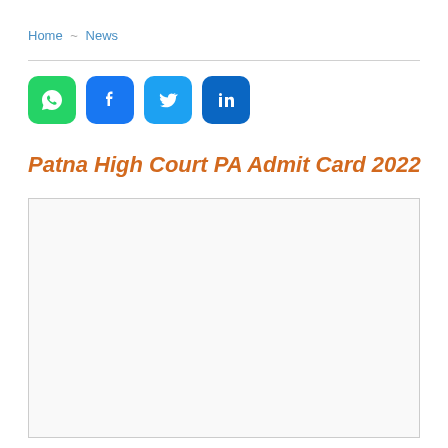Home ~ News
[Figure (other): Social media share buttons: WhatsApp (green), Facebook (blue), Twitter (light blue), LinkedIn (dark blue)]
Patna High Court PA Admit Card 2022
[Figure (other): Empty content/advertisement box with light border]